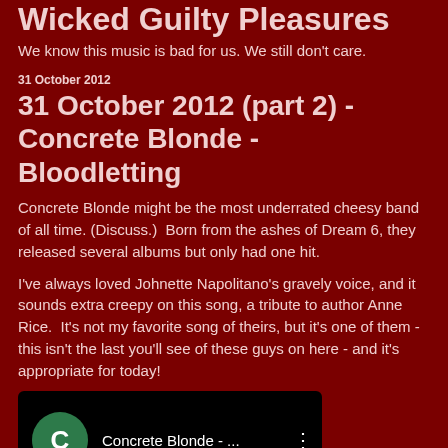Wicked Guilty Pleasures
We know this music is bad for us. We still don't care.
31 October 2012
31 October 2012 (part 2) - Concrete Blonde - Bloodletting
Concrete Blonde might be the most underrated cheesy band of all time. (Discuss.)  Born from the ashes of Dream 6, they released several albums but only had one hit.
I've always loved Johnette Napolitano's gravely voice, and it sounds extra creepy on this song, a tribute to author Anne Rice.  It's not my favorite song of theirs, but it's one of them - this isn't the last you'll see of these guys on here - and it's appropriate for today!
[Figure (screenshot): YouTube-style video thumbnail showing Concrete Blonde with a green circle icon with letter C, text 'Concrete Blonde - ...' and a three-dot menu icon, with dark waveform bars at the bottom]